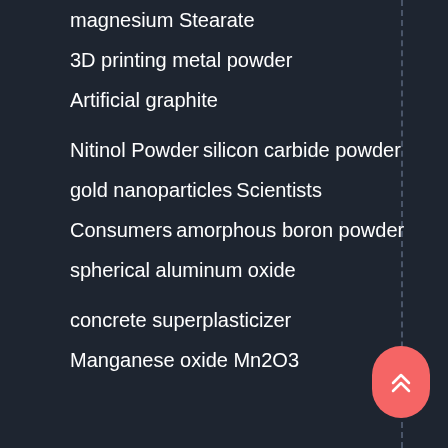magnesium Stearate
3D printing metal powder
Artificial graphite
Nitinol Powder
silicon carbide powder
gold nanoparticles
Scientists
Consumers
amorphous boron powder
spherical aluminum oxide
concrete superplasticizer
Manganese oxide Mn2O3